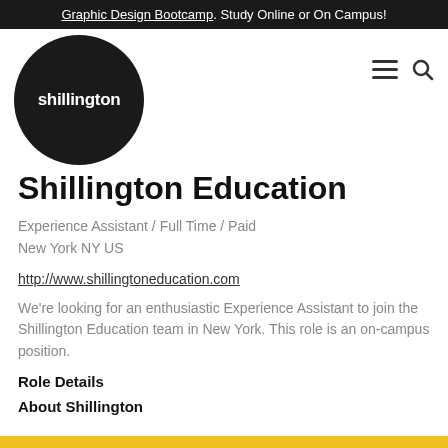Graphic Design Bootcamp. Study Online or On Campus!
[Figure (logo): Shillington Education logo — white text 'shillington' on a black circle]
Shillington Education
Experience Assistant / Full Time / Paid
New York NY US
http://www.shillingtoneducation.com
We're looking for an enthusiastic Experience Assistant to join the Shillington Education team in New York. This role is an on-campus position.
Role Details
About Shillington